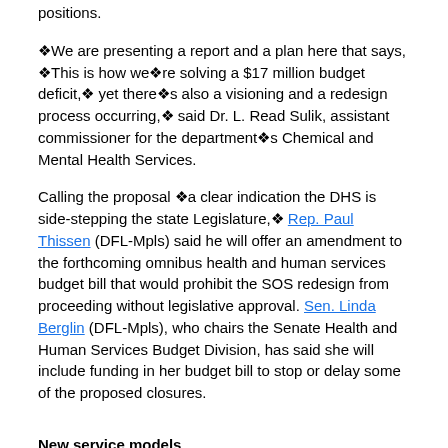positions.
❖We are presenting a report and a plan here that says, ❖This is how we❖re solving a $17 million budget deficit,❖ yet there❖s also a visioning and a redesign process occurring,❖ said Dr. L. Read Sulik, assistant commissioner for the department❖s Chemical and Mental Health Services.
Calling the proposal ❖a clear indication the DHS is side-stepping the state Legislature,❖ Rep. Paul Thissen (DFL-Mpls) said he will offer an amendment to the forthcoming omnibus health and human services budget bill that would prohibit the SOS redesign from proceeding without legislative approval. Sen. Linda Berglin (DFL-Mpls), who chairs the Senate Health and Human Services Budget Division, has said she will include funding in her budget bill to stop or delay some of the proposed closures.
New service models
According to the SOS report, changes under the redesign would take place in three phases, with the first phase occurring over the